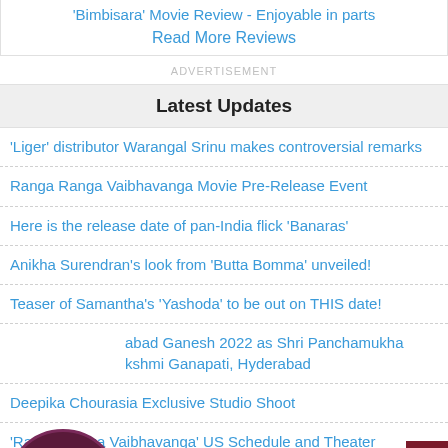'Bimbisara' Movie Review - Enjoyable in parts
Read More Reviews
ADVERTISEMENT
Latest Updates
'Liger' distributor Warangal Srinu makes controversial remarks
Ranga Ranga Vaibhavanga Movie Pre-Release Event
Here is the release date of pan-India flick 'Banaras'
Anikha Surendran's look from 'Butta Bomma' unveiled!
Teaser of Samantha's 'Yashoda' to be out on THIS date!
abad Ganesh 2022 as Shri Panchamukha kshmi Ganapati, Hyderabad
Deepika Chourasia Exclusive Studio Shoot
'Ranga Ranga Vaibhavanga' US Schedule and Theater List